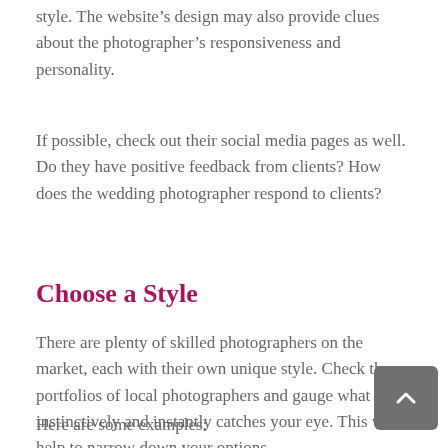style. The website's design may also provide clues about the photographer's responsiveness and personality.
If possible, check out their social media pages as well. Do they have positive feedback from clients? How does the wedding photographer respond to clients?
Choose a Style
There are plenty of skilled photographers on the market, each with their own unique style. Check the portfolios of local photographers and gauge what instinctively and instantly catches your eye. This will help to narrow down your options.
Here are some examples: